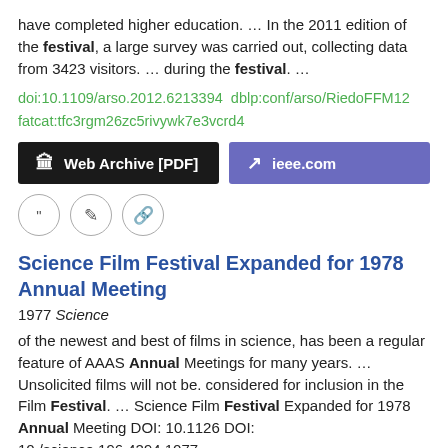have completed higher education.  …  In the 2011 edition of the festival, a large survey was carried out, collecting data from 3423 visitors.  …  during the festival.  …
doi:10.1109/arso.2012.6213394  dblp:conf/arso/RiedoFFM12 fatcat:tfc3rgm26zc5rivywk7e3vcrd4
[Figure (other): Two buttons: 'Web Archive [PDF]' (black) and 'ieee.com' (purple)]
[Figure (other): Three circular icon buttons: quote, edit, and link]
Science Film Festival Expanded for 1978 Annual Meeting
1977 Science
of the newest and best of films in science, has been a regular feature of AAAS Annual Meetings for many years.  …  Unsolicited films will not be. considered for inclusion in the Film Festival.  …  Science Film Festival Expanded for 1978 Annual Meeting DOI: 10.1126 DOI: 10./science.196.4294.1077  …
doi:10.1126/science.196.4294.1077-a  pmid:17778536 fatcat:2eip3nqhqbas3irhq2di537try
[Figure (other): Two partially visible buttons at bottom of page]